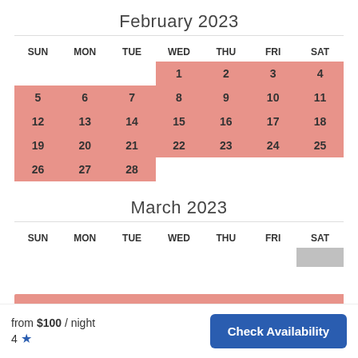February 2023
| SUN | MON | TUE | WED | THU | FRI | SAT |
| --- | --- | --- | --- | --- | --- | --- |
|  |  |  | 1 | 2 | 3 | 4 |
| 5 | 6 | 7 | 8 | 9 | 10 | 11 |
| 12 | 13 | 14 | 15 | 16 | 17 | 18 |
| 19 | 20 | 21 | 22 | 23 | 24 | 25 |
| 26 | 27 | 28 |  |  |  |  |
March 2023
| SUN | MON | TUE | WED | THU | FRI | SAT |
| --- | --- | --- | --- | --- | --- | --- |
from $100 / night
4 ★